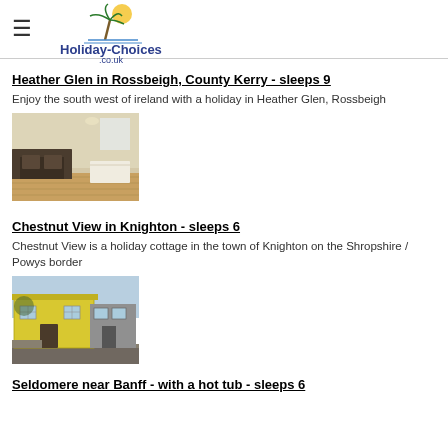Holiday-Choices.co.uk
Heather Glen in Rossbeigh, County Kerry - sleeps 9
Enjoy the south west of ireland with a holiday in Heather Glen, Rossbeigh
[Figure (photo): Interior photo of a living room with dark sofa and light wood floor]
Chestnut View in Knighton - sleeps 6
Chestnut View is a holiday cottage in the town of Knighton on the Shropshire / Powys border
[Figure (photo): Exterior photo of a yellow building/cottage in Knighton]
Seldomere near Banff - with a hot tub - sleeps 6